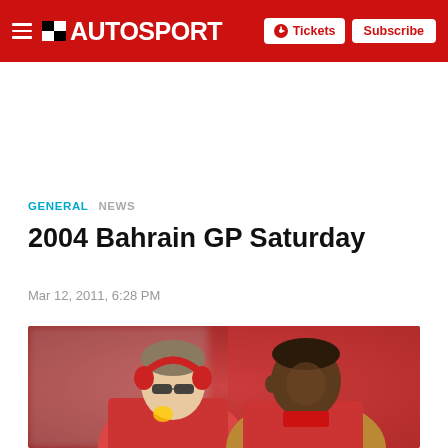AUTOSPORT — Tickets | Subscribe
GENERAL  NEWS
2004 Bahrain GP Saturday
Mar 12, 2011, 6:28 PM
[Figure (photo): Two people in red Ferrari team uniforms in a pit garage. The person on the left wears red headphones and sunglasses; the person on the right is a dark-skinned man also in red. They appear to be in conversation, with a blurred red Ferrari pit wall background.]